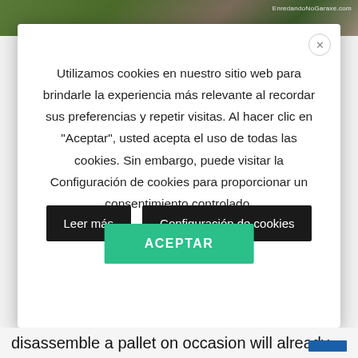[Figure (photo): Outdoor nature photo showing grass and ground, with watermark 'EnredandoNoGaraxe.com' in top right corner]
Utilizamos cookies en nuestro sitio web para brindarle la experiencia más relevante al recordar sus preferencias y repetir visitas. Al hacer clic en "Aceptar", usted acepta el uso de todas las cookies. Sin embargo, puede visitar la Configuración de cookies para proporcionar un consentimiento controlado.
Leer más
Configuración de cookies
ACEPTAR
disassemble a pallet on occasion will already